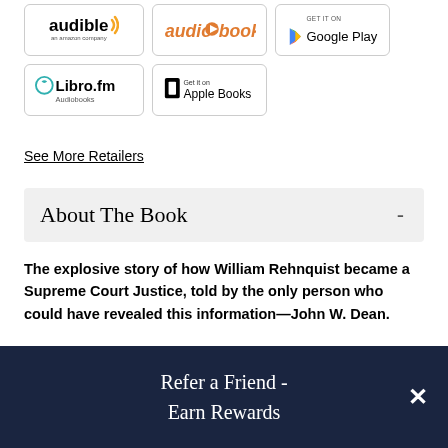[Figure (logo): Audible logo - an Amazon company]
[Figure (logo): audiobooks.com logo in orange italic]
[Figure (logo): Get it on Google Play logo]
[Figure (logo): Libro.fm Audiobooks logo with teal icon]
[Figure (logo): Get it on Apple Books logo]
See More Retailers
About The Book -
The explosive story of how William Rehnquist became a Supreme Court Justice, told by the only person who could have revealed this information—John W. Dean.
Refer a Friend - Earn Rewards